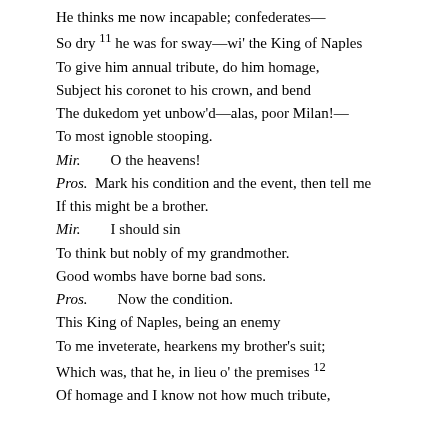He thinks me now incapable; confederates—
So dry 11 he was for sway—wi' the King of Naples
To give him annual tribute, do him homage,
Subject his coronet to his crown, and bend
The dukedom yet unbow'd—alas, poor Milan!—
To most ignoble stooping.
Mir.        O the heavens!
Pros.  Mark his condition and the event, then tell me
If this might be a brother.
Mir.        I should sin
To think but nobly of my grandmother.
Good wombs have borne bad sons.
Pros.        Now the condition.
This King of Naples, being an enemy
To me inveterate, hearkens my brother's suit;
Which was, that he, in lieu o' the premises 12
Of homage and I know not how much tribute,